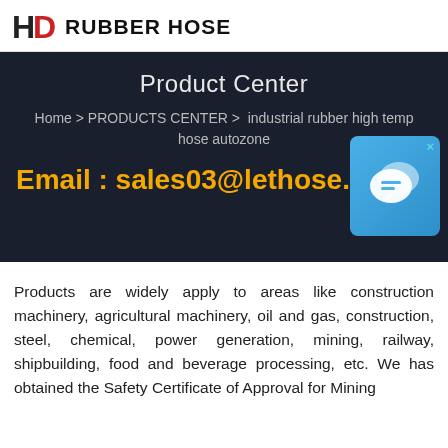[Figure (logo): HD Rubber Hose logo with red D and bold black text]
Product Center
Home > PRODUCTS CENTER >  industrial rubber high temp hose autozone
Email : sales03@lethose.c…
[Figure (illustration): Blue chat/messenger widget icon with X close button]
Products are widely apply to areas like construction machinery, agricultural machinery, oil and gas, construction, steel, chemical, power generation, mining, railway, shipbuilding, food and beverage processing, etc. We has obtained the Safety Certificate of Approval for Mining